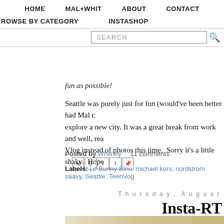HOME  MAL+WHIT  ABOUT  CONTACT
BROWSE BY CATEGORY  INSTASHOP
SEARCH
fun as possible!
Seattle was purely just for fun (would've been better had Mal c explore a new city. It was a great break from work and well, rea Vlog instead of photos this time.  Sorry it's a little shaky.  Hope
Posted by Whitney   11 comments:
Labels: Le Bunny Bleu, michael kors, nordstrom saavy, Seattle, TeenVog
Thursday, August
Insta-RT
[Figure (photo): Partial bottom image, beige/tan tones]